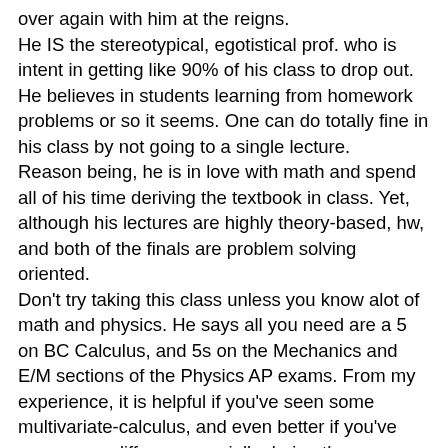over again with him at the reigns. He IS the stereotypical, egotistical prof. who is intent in getting like 90% of his class to drop out. He believes in students learning from homework problems or so it seems. One can do totally fine in his class by not going to a single lecture. Reason being, he is in love with math and spend all of his time deriving the textbook in class. Yet, although his lectures are highly theory-based, hw, and both of the finals are problem solving oriented. Don't try taking this class unless you know alot of math and physics. He says all you need are a 5 on BC Calculus, and 5s on the Mechanics and E/M sections of the Physics AP exams. From my experience, it is helpful if you've seen some multivariate-calculus, and even better if you've seen some diff. eq. especially during the oscillations chapter. Furthermore, unlike high school physics, in this class you actually USE calculus to solve